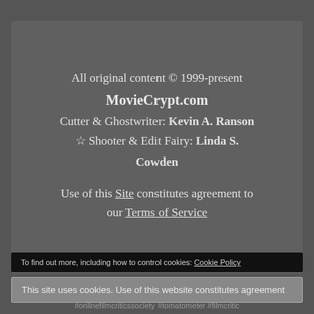All original content © 1999-present MovieCrypt.com Cutter & Ghostwriter: Kevin A. Ranson ☆ Shooter & Edit Fairy: Linda S. Cowden Use of this Site constitutes agreement to our Terms of Service
To find out more, including how to control cookies: Cookie Policy
This site uses cookies. Use of this website constitutes agreement
#onlinefilmcriticssociety #tomatometer #filmcritic